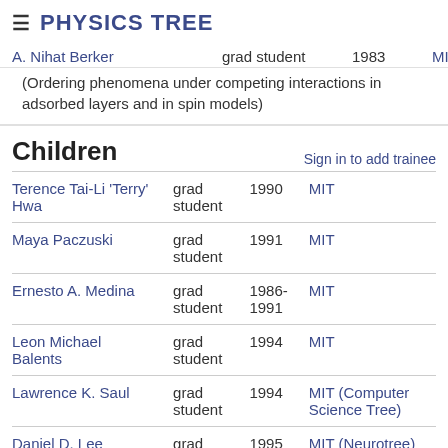≡ PHYSICS TREE
A. Nihat Berker   grad student   1983   MIT
(Ordering phenomena under competing interactions in adsorbed layers and in spin models)
Children
| Name | Role | Year | Institution |
| --- | --- | --- | --- |
| Terence Tai-Li 'Terry' Hwa | grad student | 1990 | MIT |
| Maya Paczuski | grad student | 1991 | MIT |
| Ernesto A. Medina | grad student | 1986-1991 | MIT |
| Leon Michael Balents | grad student | 1994 | MIT |
| Lawrence K. Saul | grad student | 1994 | MIT (Computer Science Tree) |
| Daniel D. Lee | grad student | 1995 | MIT (Neurotree) |